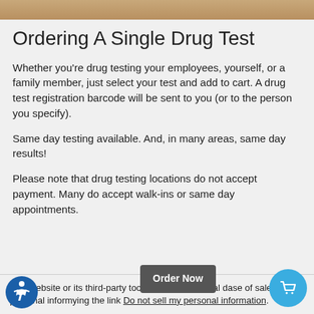[Figure (photo): Partial photo strip at top of page showing a warm-toned background]
Ordering A Single Drug Test
Whether you're drug testing your employees, yourself, or a family member, just select your test and add to cart. A drug test registration barcode will be sent to you (or to the person you specify).
Same day testing available. And, in many areas, same day results!
Please note that drug testing locations do not accept payment. Many do accept walk-ins or same day appointments.
This website or its third-party tools process personal da... se of sale of your personal inform... y... ing the link Do not sell my personal information.